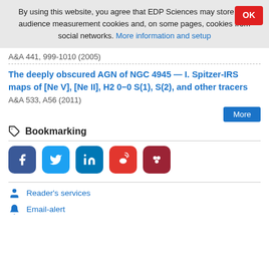By using this website, you agree that EDP Sciences may store web audience measurement cookies and, on some pages, cookies from social networks. More information and setup
A&A 441, 999-1010 (2005)
The deeply obscured AGN of NGC 4945 — I. Spitzer-IRS maps of [Ne V], [Ne II], H2 0−0 S(1), S(2), and other tracers
A&A 533, A56 (2011)
More
Bookmarking
[Figure (infographic): Social media sharing icons: Facebook (blue), Twitter (light blue), LinkedIn (blue), Weibo (red), Mendeley (dark red)]
Reader's services
Email-alert